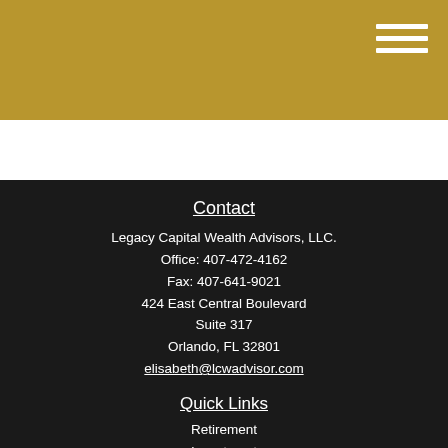[Figure (other): Gold/yellow header bar with hamburger menu icon (three white horizontal lines) in top right corner]
Contact
Legacy Capital Wealth Advisors, LLC.
Office: 407-472-4162
Fax: 407-641-9021
424 East Central Boulevard
Suite 317
Orlando, FL 32801
elisabeth@lcwadvisor.com
Quick Links
Retirement
Investment
Estate